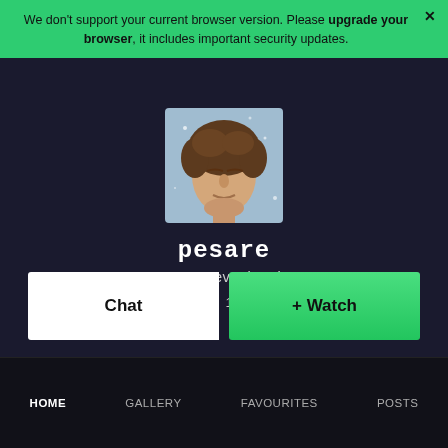We don't support your current browser version. Please upgrade your browser, it includes important security updates.
[Figure (photo): Profile photo of a young man with curly brown hair, eyes closed, against a light blue background]
pesare
Pete Revonkorpi
7.9K Watchers  |  110 Deviations
Chat
+ Watch
HOME   GALLERY   FAVOURITES   POSTS